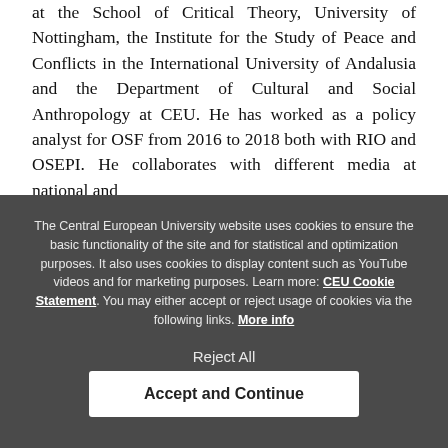at the School of Critical Theory, University of Nottingham, the Institute for the Study of Peace and Conflicts in the International University of Andalusia and the Department of Cultural and Social Anthropology at CEU. He has worked as a policy analyst for OSF from 2016 to 2018 both with RIO and OSEPI. He collaborates with different media at national and
The Central European University website uses cookies to ensure the basic functionality of the site and for statistical and optimization purposes. It also uses cookies to display content such as YouTube videos and for marketing purposes. Learn more: CEU Cookie Statement. You may either accept or reject usage of cookies via the following links. More info
Reject All
Accept and Continue